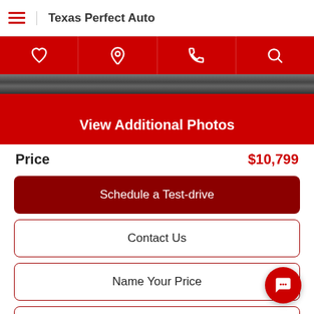Texas Perfect Auto
[Figure (screenshot): Red navigation icon bar with heart, location pin, phone, and search icons on red background, followed by a dark photo strip and red bar]
View Additional Photos
Price   $10,799
Schedule a Test-drive
Contact Us
Name Your Price